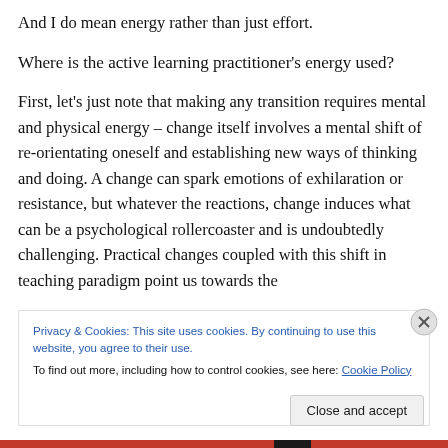And I do mean energy rather than just effort.
Where is the active learning practitioner's energy used?
First, let's just note that making any transition requires mental and physical energy – change itself involves a mental shift of re-orientating oneself and establishing new ways of thinking and doing. A change can spark emotions of exhilaration or resistance, but whatever the reactions, change induces what can be a psychological rollercoaster and is undoubtedly challenging. Practical changes coupled with this shift in teaching paradigm point us towards the
Privacy & Cookies: This site uses cookies. By continuing to use this website, you agree to their use.
To find out more, including how to control cookies, see here: Cookie Policy
Close and accept